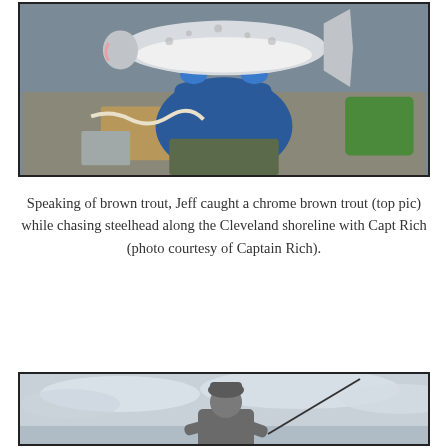[Figure (photo): Person on a boat holding up a large chrome brown trout (steelhead) with both hands, wearing blue gloves and a blue jacket. Rope and a wooden surface visible in the background along with a green bag.]
Speaking of brown trout, Jeff caught a chrome brown trout (top pic) while chasing steelhead along the Cleveland shoreline with Capt Rich (photo courtesy of Captain Rich).
[Figure (photo): Person standing outdoors on a cloudy day wearing a grey knit hat, holding a fishing rod. Overcast sky in the background.]